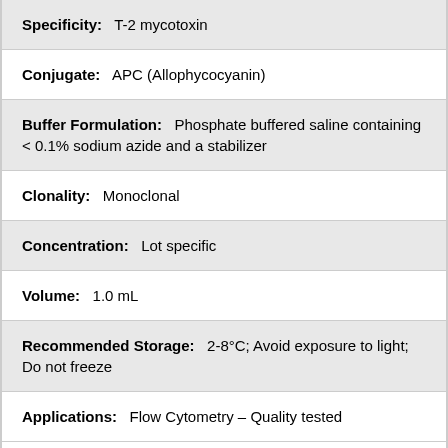Specificity: T-2 mycotoxin
Conjugate: APC (Allophycocyanin)
Buffer Formulation: Phosphate buffered saline containing < 0.1% sodium azide and a stabilizer
Clonality: Monoclonal
Concentration: Lot specific
Volume: 1.0 mL
Recommended Storage: 2-8°C; Avoid exposure to light; Do not freeze
Applications: Flow Cytometry – Quality tested